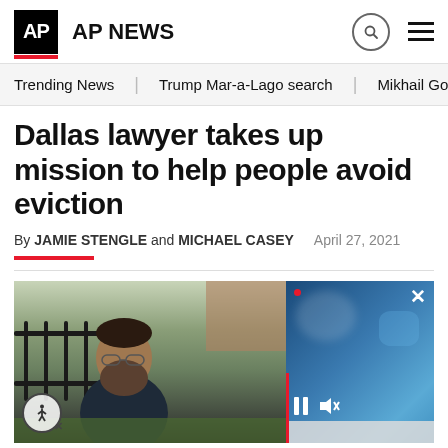AP NEWS
Trending News  |  Trump Mar-a-Lago search  |  Mikhail Gorbachev d
Dallas lawyer takes up mission to help people avoid eviction
By JAMIE STENGLE and MICHAEL CASEY   April 27, 2021
[Figure (photo): A bearded man wearing glasses standing outside in front of a railing and house, with a video player overlay in the top right corner showing a blurred blue video still with pause and mute controls]